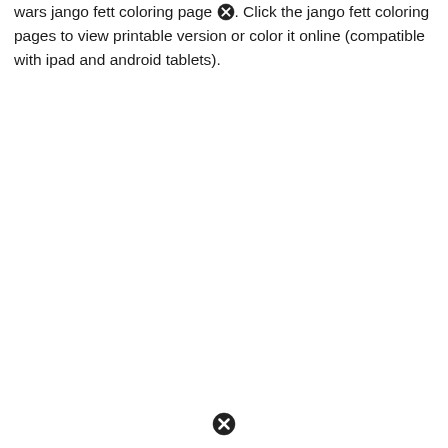wars jango fett coloring page. Click the jango fett coloring pages to view printable version or color it online (compatible with ipad and android tablets).
[Figure (other): Close/cancel button icon (circle with X) appearing inline within text]
[Figure (other): Close/cancel button icon (circle with X) at bottom center of page]